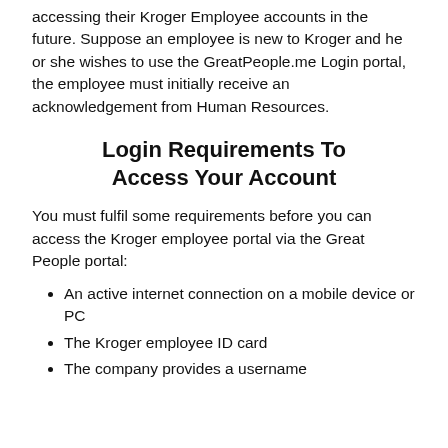accessing their Kroger Employee accounts in the future. Suppose an employee is new to Kroger and he or she wishes to use the GreatPeople.me Login portal, the employee must initially receive an acknowledgement from Human Resources.
Login Requirements To Access Your Account
You must fulfil some requirements before you can access the Kroger employee portal via the Great People portal:
An active internet connection on a mobile device or PC
The Kroger employee ID card
The company provides a username